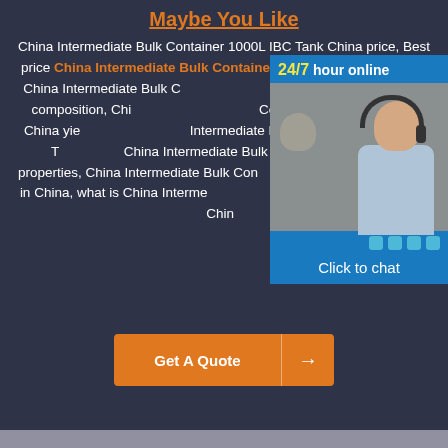Maybe You Like
China Intermediate Bulk Container 1000L IBC Tank China price, Best price China Intermediate Bulk Container 1000L IBC Tank China , China Intermediate Bulk Container 1000L IBC Tank China chemical composition, China Intermediate Bulk Container 1000L IBC Tank China yield strength, China Intermediate Bulk Container 1000L IBC Tank China mechanical properties, China Intermediate Bulk Container 1000L IBC Tank China in China, what is China Intermediate Bulk Container 1000L IBC Tank China
[Figure (photo): 24/7 hour online chat widget with photo of a woman wearing a headset, and a 'Click to chat' button]
Get A Quote →